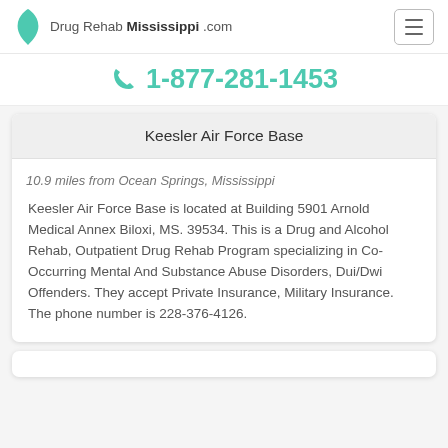Drug Rehab Mississippi .com
1-877-281-1453
Keesler Air Force Base
10.9 miles from Ocean Springs, Mississippi
Keesler Air Force Base is located at Building 5901 Arnold Medical Annex Biloxi, MS. 39534. This is a Drug and Alcohol Rehab, Outpatient Drug Rehab Program specializing in Co-Occurring Mental And Substance Abuse Disorders, Dui/Dwi Offenders. They accept Private Insurance, Military Insurance. The phone number is 228-376-4126.